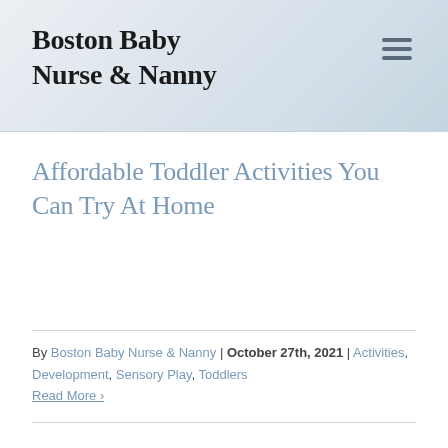[Figure (photo): Website header banner with light blue-gray gradient background, Boston Baby Nurse & Nanny logo text on left, hamburger menu icon on right]
Affordable Toddler Activities You Can Try At Home
By Boston Baby Nurse & Nanny | October 27th, 2021 | Activities, Development, Sensory Play, Toddlers Read More ›